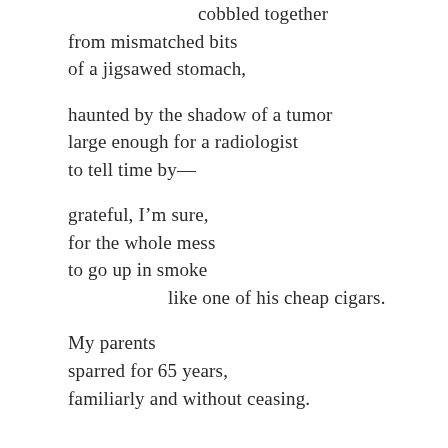cobbled together
from mismatched bits
of a jigsawed stomach,

haunted by the shadow of a tumor
large enough for a radiologist
to tell time by—

grateful, I'm sure,
for the whole mess
to go up in smoke
        like one of his cheap cigars.

My parents
sparred for 65 years,
familiarly and without ceasing.